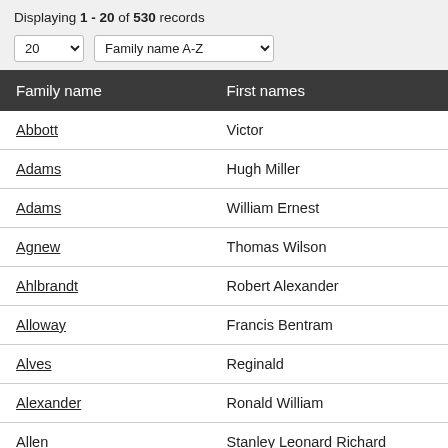Displaying 1 - 20 of 530 records
| Family name | First names |
| --- | --- |
| Abbott | Victor |
| Adams | Hugh Miller |
| Adams | William Ernest |
| Agnew | Thomas Wilson |
| Ahlbrandt | Robert Alexander |
| Alloway | Francis Bentram |
| Alves | Reginald |
| Alexander | Ronald William |
| Allen | Stanley Leonard Richard |